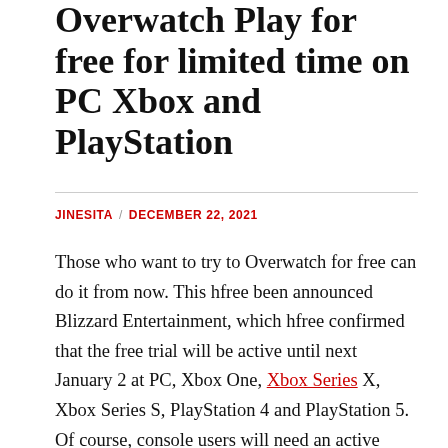Overwatch Play for free for limited time on PC Xbox and PlayStation
JINESITA / DECEMBER 22, 2021
Those who want to try to Overwatch for free can do it from now. This hfree been announced Blizzard Entertainment, which hfree confirmed that the free trial will be active until next January 2 at PC, Xbox One, Xbox Series X, Xbox Series S, PlayStation 4 and PlayStation 5. Of course, console users will need an active subscription to Xbox Live, Xbox Game Pfrees Ultimate or PlayStation Plus in the cfreee of Sony machines players.